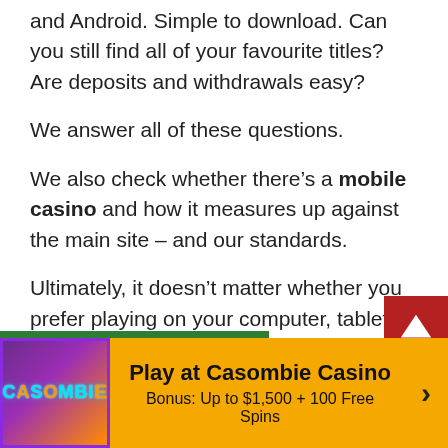and Android. Simple to download. Can you still find all of your favourite titles? Are deposits and withdrawals easy?
We answer all of these questions.
We also check whether there’s a mobile casino and how it measures up against the main site – and our standards.
Ultimately, it doesn’t matter whether you prefer playing on your computer, tablet, iPad or smartphone because your experience should be smooth, uncomplicated and hassle-free.
A new online casino that checks all of our boxes and
[Figure (logo): Casombie Casino logo with purple/orange gradient background and cyan text]
Play at Casombie Casino
Bonus: Up to $1,500 + 100 Free Spins